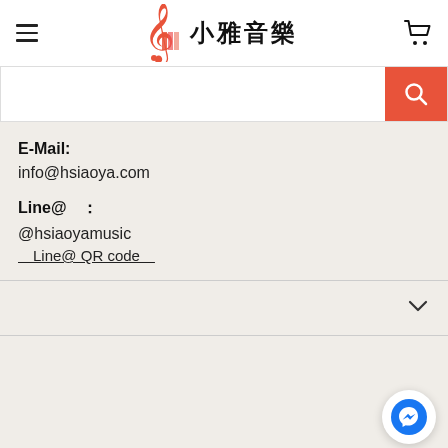[Figure (logo): 小雅音樂 music store logo with treble clef and piano keys icon, plus Chinese characters]
[Figure (screenshot): Search bar with orange/red search button containing magnifying glass icon]
E-Mail:
info@hsiaoya.com
Line@ ：
@hsiaoyamusic
＿Line@ QR code＿
[Figure (other): Chevron/down arrow icon indicating collapsible section]
[Figure (other): Facebook Messenger chat bubble icon in bottom right corner]